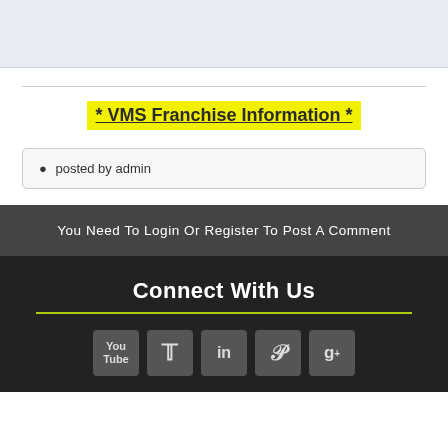[Figure (other): Light blue/gray image area at top of page]
* VMS Franchise Information *
posted by admin
You Need To Login Or Register To Post A Comment
Connect With Us
[Figure (other): Social media icons: YouTube, Twitter, LinkedIn, Pinterest, Google+]